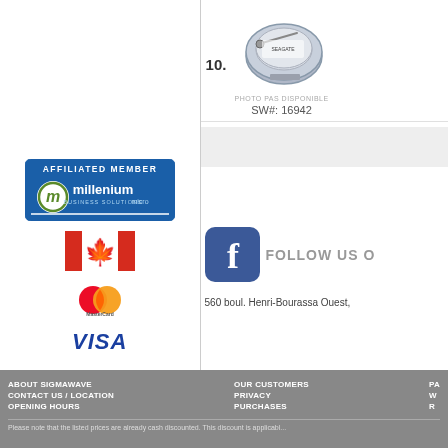[Figure (photo): Hard disk drive product image with 'PHOTO PAS DISPONIBLE' label and SW#: 16942]
SW#: 16942
[Figure (logo): Millenium Micro Affiliated Member badge]
[Figure (illustration): Canadian flag]
[Figure (logo): MasterCard logo]
VISA
[Figure (logo): Facebook Follow Us icon]
560 boul. Henri-Bourassa Ouest,
ABOUT SIGMAWAVE | CONTACT US / LOCATION | OPENING HOURS | OUR CUSTOMERS | PRIVACY | PURCHASES | Please note that the listed prices are already cash discounted. This discount is applicable...